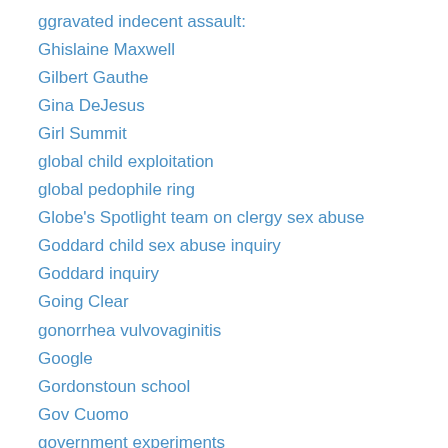ggravated indecent assault:
Ghislaine Maxwell
Gilbert Gauthe
Gina DeJesus
Girl Summit
global child exploitation
global pedophile ring
Globe's Spotlight team on clergy sex abuse
Goddard child sex abuse inquiry
Goddard inquiry
Going Clear
gonorrhea vulvovaginitis
Google
Gordonstoun school
Gov Cuomo
government experiments
government medical experiment survivor
government mind-control survivors
Grace Road Church
Graham Spanier